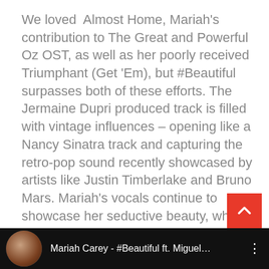We loved  Almost Home, Mariah's contribution to The Great and Powerful Oz OST, as well as her poorly received Triumphant (Get 'Em), but #Beautiful surpasses both of these efforts. The Jermaine Dupri produced track is filled with vintage influences – opening like a Nancy Sinatra track and capturing the retro-pop sound recently showcased by artists like Justin Timberlake and Bruno Mars. Mariah's vocals continue to showcase her seductive beauty, whilst Miguel proves far more charismatic than the singer's usual rent-a-rapper pals.
[Figure (screenshot): A black video player bar at the bottom showing a circular thumbnail of Mariah Carey, the text 'Mariah Carey - #Beautiful ft. Miguel...' in white on a black background, with a three-dot menu icon on the right.]